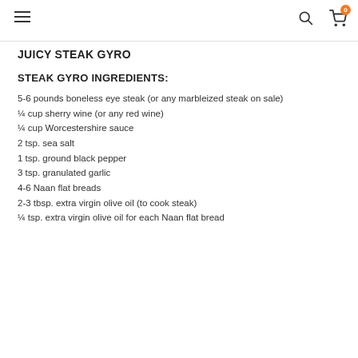≡ [search] [cart 0]
JUICY STEAK GYRO
STEAK GYRO INGREDIENTS:
5-6 pounds boneless eye steak (or any marbleized steak on sale)
¼ cup sherry wine (or any red wine)
¼ cup Worcestershire sauce
2 tsp. sea salt
1 tsp. ground black pepper
3 tsp. granulated garlic
4-6 Naan flat breads
2-3 tbsp. extra virgin olive oil (to cook steak)
¼ tsp. extra virgin olive oil for each Naan flat bread